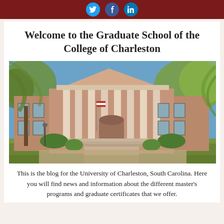[Social icons: Twitter, Facebook, LinkedIn]
Welcome to the Graduate School of the College of Charleston
[Figure (photo): Exterior photo of the College of Charleston main building, a historic red-brick neoclassical building with large white columns and an American flag, surrounded by trees with spring foliage under a blue sky.]
This is the blog for the University of Charleston, South Carolina. Here you will find news and information about the different master's programs and graduate certificates that we offer.